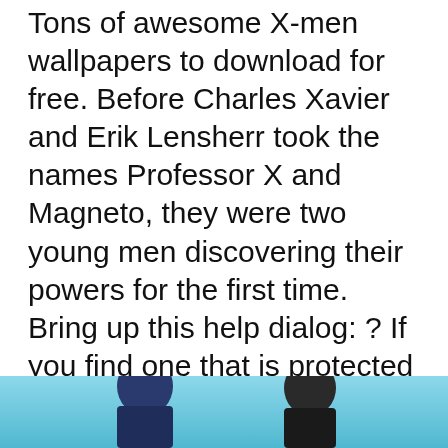Tons of awesome X-men wallpapers to download for free. Before Charles Xavier and Erik Lensherr took the names Professor X and Magneto, they were two young men discovering their powers for the first time. Bring up this help dialog: ? If you find one that is protected by copyright, please inform us to remove. We hope you enjoy our variety and growing collection of HD images to use as a Background or Home Screen for your smartphone and computer. X-men - first class: Directed by Matthew Vaughn. Choose and download from hundreds of high-quality HD wallpapers that feature nature, abstract patterns and more. Wallpapers - Images displayed in these galleries are free. Thousands of new images every day Completely Free to Use High-quality videos and images from Pexels. Discover this awesome collection of x men iPhone SE wallpapers.
[Figure (photo): Bottom strip of an image showing two characters from X-Men First Class, partially cut off at the bottom of the page, against a light blue background.]